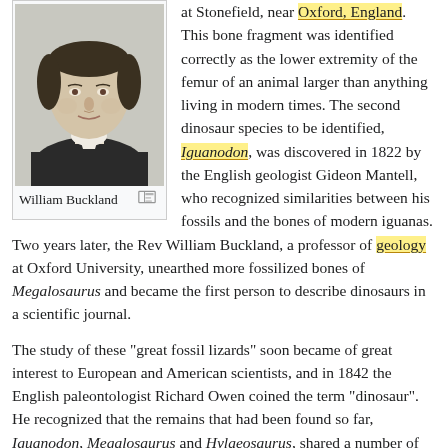[Figure (photo): Black and white portrait photograph of William Buckland, a man in dark clothing with white collar, historical portrait style.]
William Buckland
at Stonefield, near Oxford, England. This bone fragment was identified correctly as the lower extremity of the femur of an animal larger than anything living in modern times. The second dinosaur species to be identified, Iguanodon, was discovered in 1822 by the English geologist Gideon Mantell, who recognized similarities between his fossils and the bones of modern iguanas.
Two years later, the Rev William Buckland, a professor of geology at Oxford University, unearthed more fossilized bones of Megalosaurus and became the first person to describe dinosaurs in a scientific journal.
The study of these "great fossil lizards" soon became of great interest to European and American scientists, and in 1842 the English paleontologist Richard Owen coined the term "dinosaur". He recognized that the remains that had been found so far, Iguanodon, Megalosaurus and Hylaeosaurus, shared a number of distinctive features, and so decided to present them as a distinct taxonomic group. With the backing of Prince Albert of Saxe-Coburg-Gotha, the husband of Queen Victoria, Owen established the Natural History Museum in South Kensington, London, to display the national collection of dinosaur fossils and other biological and geological exhibits.
In 1858, the first known American dinosaur was discovered, in marl pits in the small town of Haddonfield, New Jersey (although fossils had been